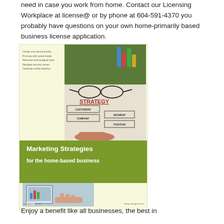need in case you work from home. Contact our Licensing Workplace at license@ or by phone at 604-591-4370 you probably have questions on your own home-primarily based business license application.
[Figure (illustration): Book cover for 'Marketing Strategies for the home-based business' by Shirley George Frasier. The cover shows a strategy diagram with boxes labeled CUSTOMERS, SEGMENT, COMPANY, POSITION, and a photo of hands pointing at papers. The bottom-left shows a tablet/typing image. Published by Copyrighted Material.]
Enjoy a benefit like all businesses, the best in